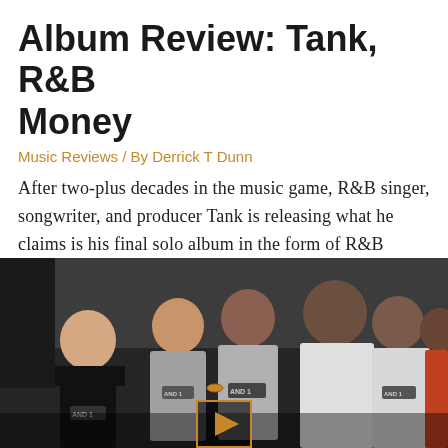Album Review: Tank, R&B Money
Music Reviews / By Derrick T Dunn
After two-plus decades in the music game, R&B singer, songwriter, and producer Tank is releasing what he claims is his final solo album in the form of R&B Money.
[Figure (photo): Group photo of several men in AND1 branded t-shirts standing together, with a video play button overlay at the bottom center]